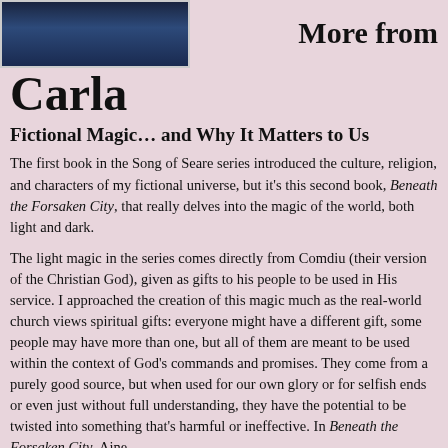[Figure (photo): A dark blue photo (partial, cropped at top) showing what appears to be a person or figure with dark blue tones, likely an author photo.]
More from
Carla
Fictional Magic… and Why It Matters to Us
The first book in the Song of Seare series introduced the culture, religion, and characters of my fictional universe, but it's this second book, Beneath the Forsaken City, that really delves into the magic of the world, both light and dark.
The light magic in the series comes directly from Comdiu (their version of the Christian God), given as gifts to his people to be used in His service. I approached the creation of this magic much as the real-world church views spiritual gifts: everyone might have a different gift, some people may have more than one, but all of them are meant to be used within the context of God's commands and promises. They come from a purely good source, but when used for our own glory or for selfish ends or even just without full understanding, they have the potential to be twisted into something that's harmful or ineffective. In Beneath the Forsaken City, Aine